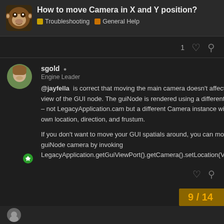How to move Camera in X and Y position? | Troubleshooting | General Help
sgold | Engine Leader | Jul '17
@jayfella is correct that moving the main camera doesn't affect the view of the GUI node. The guiNode is rendered using a different camera – not LegacyApplication.cam but a different Camera instance with its own location, direction, and frustum.

If you don't want to move your GUI spatials around, you can move the guiNode camera by invoking LegacyApplication.getGuiViewPort().getCamera().setLocation(Vector3f).
9 / 14